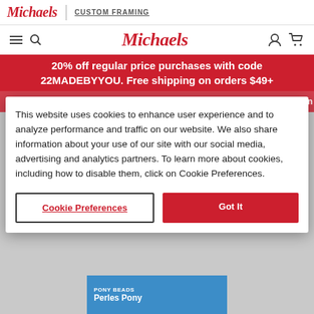Michaels | CUSTOM FRAMING
Michaels
20% off regular price purchases with code 22MADEBYYOU. Free shipping on orders $49+
This website uses cookies to enhance user experience and to analyze performance and traffic on our website. We also share information about your use of our site with our social media, advertising and analytics partners. To learn more about cookies, including how to disable them, click on Cookie Preferences.
Cookie Preferences
Got It